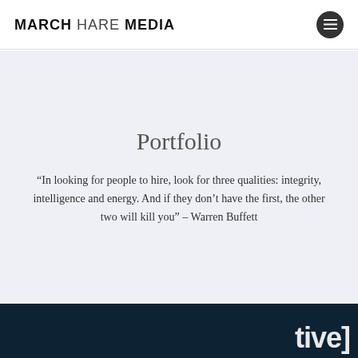MARCH HARE MEDIA
Portfolio
“In looking for people to hire, look for three qualities: integrity, intelligence and energy. And if they don’t have the first, the other two will kill you” – Warren Buffett
[Figure (other): Partial dark teal footer with white text partially visible, showing the end of a word ending in letters resembling 'tive]']